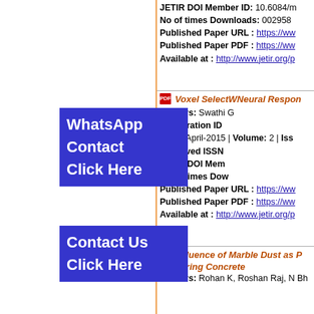JETIR DOI Member ID: 10.6084/m...
No of times Downloads: 002958
Published Paper URL : https://www...
Published Paper PDF : https://www...
Available at : http://www.jetir.org/p...
[Figure (other): WhatsApp Contact Click Here popup overlay in blue]
Voxel Select... Neural Respons...
Authors: Swathi G...
Registration ID ...
Year : April-2015 | Volume: 2 | Iss...
Approved ISSN...
JETIR DOI Mem...
No of times Dow...
Published Paper URL : https://www...
Published Paper PDF : https://www...
Available at : http://www.jetir.org/p...
[Figure (other): Contact Us Click Here popup overlay in blue]
Influence of Marble Dust as P... Curing Concrete
Authors: Rohan K, Roshan Raj, N Bh...